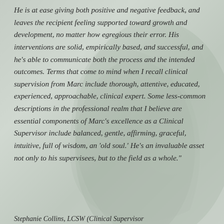He is at ease giving both positive and negative feedback, and leaves the recipient feeling supported toward growth and development, no matter how egregious their error. His interventions are solid, empirically based, and successful, and he's able to communicate both the process and the intended outcomes. Terms that come to mind when I recall clinical supervision from Marc include thorough, attentive, educated, experienced, approachable, clinical expert. Some less-common descriptions in the professional realm that I believe are essential components of Marc's excellence as a Clinical Supervisor include balanced, gentle, affirming, graceful, intuitive, full of wisdom, an 'old soul.' He's an invaluable asset not only to his supervisees, but to the field as a whole."
Stephanie Collins, LCSW (Clinical Supervisor)